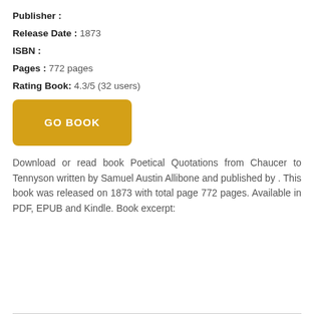Publisher :
Release Date : 1873
ISBN :
Pages : 772 pages
Rating Book: 4.3/5 (32 users)
[Figure (other): Yellow GO BOOK button]
Download or read book Poetical Quotations from Chaucer to Tennyson written by Samuel Austin Allibone and published by . This book was released on 1873 with total page 772 pages. Available in PDF, EPUB and Kindle. Book excerpt: